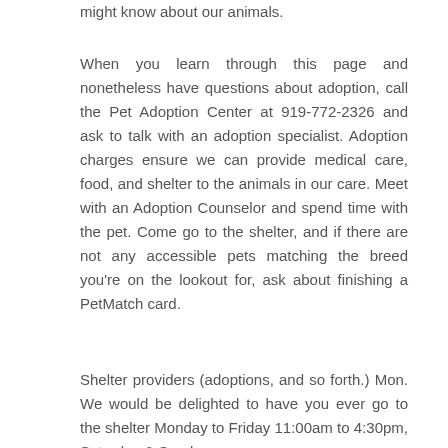might know about our animals.
When you learn through this page and nonetheless have questions about adoption, call the Pet Adoption Center at 919-772-2326 and ask to talk with an adoption specialist. Adoption charges ensure we can provide medical care, food, and shelter to the animals in our care. Meet with an Adoption Counselor and spend time with the pet. Come go to the shelter, and if there are not any accessible pets matching the breed you're on the lookout for, ask about finishing a PetMatch card.
Shelter providers (adoptions, and so forth.) Mon. We would be delighted to have you ever go to the shelter Monday to Friday 11:00am to 4:30pm, Saturday & Sunday